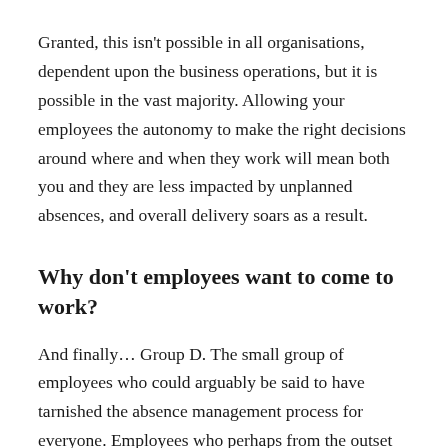Granted, this isn't possible in all organisations, dependent upon the business operations, but it is possible in the vast majority. Allowing your employees the autonomy to make the right decisions around where and when they work will mean both you and they are less impacted by unplanned absences, and overall delivery soars as a result.
Why don't employees want to come to work?
And finally… Group D. The small group of employees who could arguably be said to have tarnished the absence management process for everyone. Employees who perhaps from the outset have been in the...